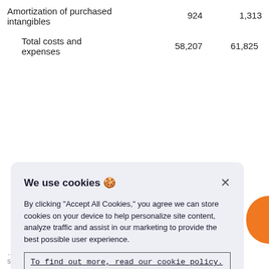| Amortization of purchased intangibles | 924 | 1,313 |
| Total costs and expenses | 58,207 | 61,825 |
We use cookies 🍪
By clicking "Accept All Cookies," you agree we can store cookies on your device to help personalize site content, analyze traffic and assist in our marketing to provide the best possible user experience.
To find out more, read our cookie policy.
Accept All Cookies
Cookies Settings